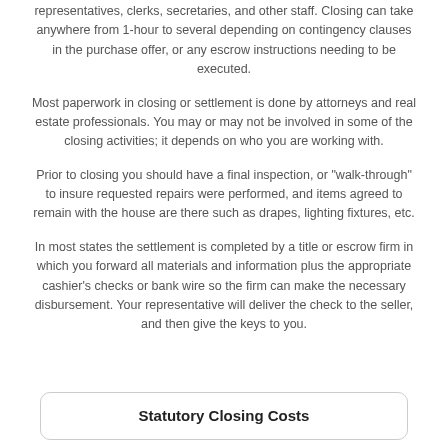representatives, clerks, secretaries, and other staff. Closing can take anywhere from 1-hour to several depending on contingency clauses in the purchase offer, or any escrow instructions needing to be executed.
Most paperwork in closing or settlement is done by attorneys and real estate professionals. You may or may not be involved in some of the closing activities; it depends on who you are working with.
Prior to closing you should have a final inspection, or "walk-through" to insure requested repairs were performed, and items agreed to remain with the house are there such as drapes, lighting fixtures, etc.
In most states the settlement is completed by a title or escrow firm in which you forward all materials and information plus the appropriate cashier's checks or bank wire so the firm can make the necessary disbursement. Your representative will deliver the check to the seller, and then give the keys to you.
Statutory Closing Costs